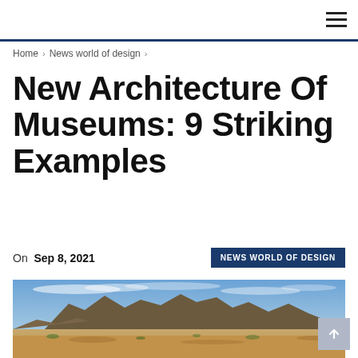Navigation bar with hamburger menu icon
Home > News world of design >
New Architecture Of Museums: 9 Striking Examples
On Sep 8, 2021
NEWS WORLD OF DESIGN
[Figure (photo): Desert landscape with rocky hills under a blue sky with scattered clouds, sandy terrain with sparse vegetation in the foreground]